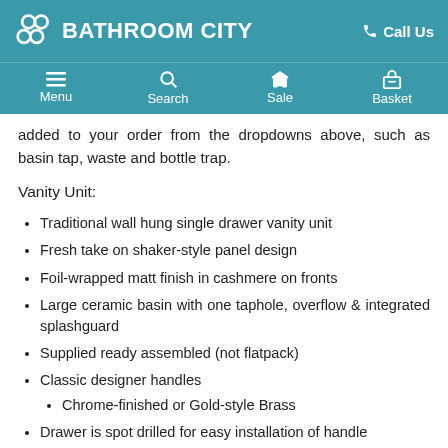BATHROOM CITY  Call Us  Menu  Search  Sale  Basket
added to your order from the dropdowns above, such as basin tap, waste and bottle trap.
Vanity Unit:
Traditional wall hung single drawer vanity unit
Fresh take on shaker-style panel design
Foil-wrapped matt finish in cashmere on fronts
Large ceramic basin with one taphole, overflow & integrated splashguard
Supplied ready assembled (not flatpack)
Classic designer handles
Chrome-finished or Gold-style Brass
Drawer is spot drilled for easy installation of handle